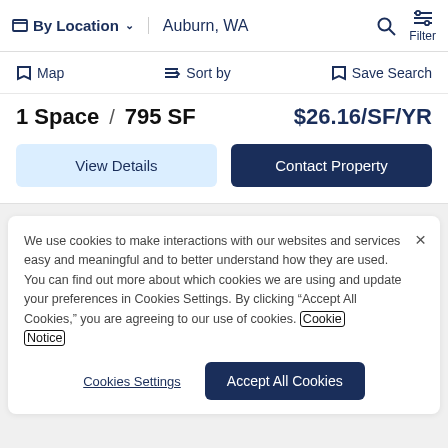By Location  Auburn, WA  Filter
Map  Sort by  Save Search
1 Space /  795 SF   $26.16/SF/YR
View Details   Contact Property
We use cookies to make interactions with our websites and services easy and meaningful and to better understand how they are used. You can find out more about which cookies we are using and update your preferences in Cookies Settings. By clicking “Accept All Cookies,” you are agreeing to our use of cookies. Cookie Notice
Cookies Settings   Accept All Cookies